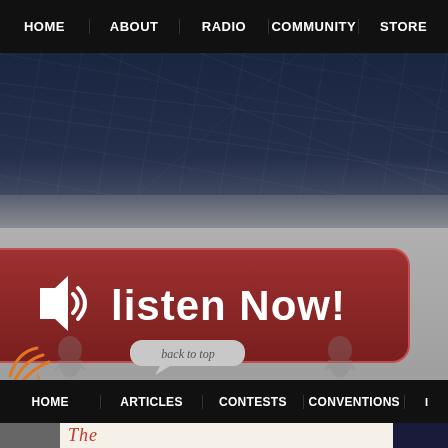HOME | ABOUT | RADIO | COMMUNITY | STORE
[Figure (screenshot): Dark navy header background with subtle grid/map lines pattern]
[Figure (illustration): Listen Now button with speaker icon on dark red/maroon rounded rectangle background]
[Figure (illustration): Decorative anime-style characters with 'back to top' speech bubble, and orange music note icon at bottom left]
HOME | ARTICLES | CONTESTS | CONVENTIONS
[Figure (screenshot): Footer strip with partial image on left, cursive red title text 'The' in center, dark block on right]